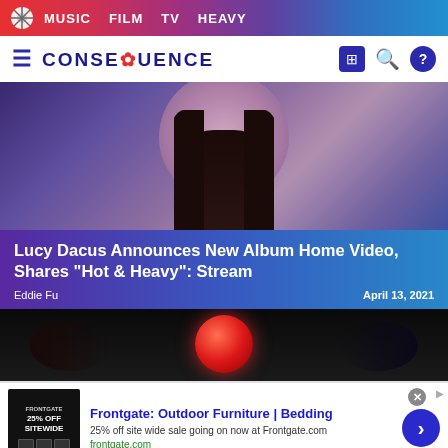MUSIC  FILM  TV  HEAVY
CONSEQUENCE
[Figure (photo): Close-up photo of a woman with dark hair and red lips against a purple circular background]
Lucy Dacus Announces New Album Home Video, Shares "Hot & Heavy": Stream
Eddie Fu
April 13, 2021
[Figure (photo): Dark image with a glowing red orb/sphere in the center]
Frontgate: Outdoor Furniture | Bedding
25% off site wide sale going on now at Frontgate.com
frontgate.com